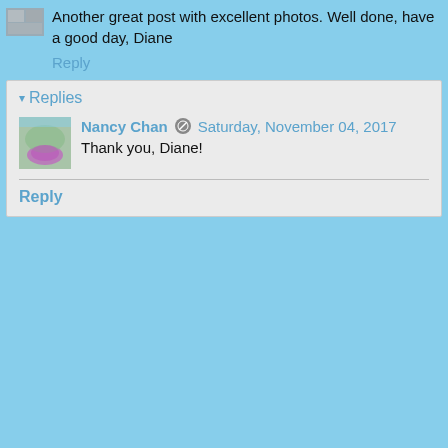Another great post with excellent photos. Well done, have a good day, Diane
Reply
Replies
Nancy Chan  Saturday, November 04, 2017
Thank you, Diane!
Reply